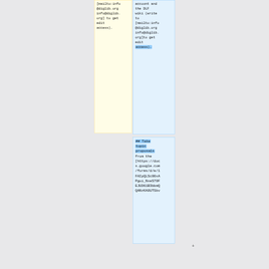[mailto:info@diglib.org info@diglib.org] to get edit access).
account and the DLF wiki (write to [mailto:info@diglib.org info@diglib.org]to get edit access).
## Take topic proposals from the [https://docs.google.com/forms/d/e/1FAIpQLSc00xAPgoi_NxeS70FEJud61B3bbmQQANzKA0UTSbv